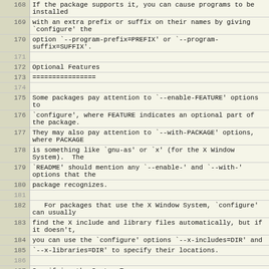168  If the package supports it, you can cause programs to be installed
169  with an extra prefix or suffix on their names by giving `configure' the
170  option `--program-prefix=PREFIX' or `--program-suffix=SUFFIX'.
171  
172  Optional Features
173  ================
174  
175  Some packages pay attention to `--enable-FEATURE' options to
176  `configure', where FEATURE indicates an optional part of the package.
177  They may also pay attention to `--with-PACKAGE' options, where PACKAGE
178  is something like `gnu-as' or `x' (for the X Window System).  The
179  `README' should mention any `--enable-' and `--with-' options that the
180  package recognizes.
181  
182     For packages that use the X Window System, `configure' can usually
183  find the X include and library files automatically, but if it doesn't,
184  you can use the `configure' options `--x-includes=DIR' and
185  `--x-libraries=DIR' to specify their locations.
186  
187  Specifying the System Type
188  ==========================
189  
190  There may be some features `configure' cannot figure out automatically,